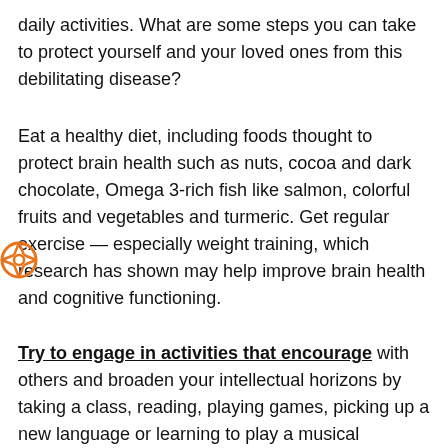daily activities. What are some steps you can take to protect yourself and your loved ones from this debilitating disease?
Eat a healthy diet, including foods thought to protect brain health such as nuts, cocoa and dark chocolate, Omega 3-rich fish like salmon, colorful fruits and vegetables and turmeric. Get regular exercise — especially weight training, which research has shown may help improve brain health and cognitive functioning.
Try to engage in activities that encourage with others and broaden your intellectual horizons by taking a class, reading, playing games, picking up a new language or learning to play a musical instrument. Keep an eye on your heart health; reduced blood flow to your brain can heighten the risk of stroke, which in